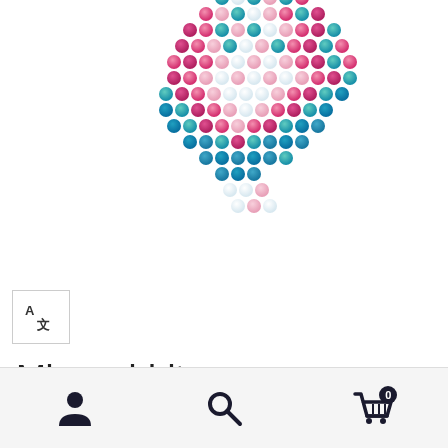[Figure (illustration): Pixel bead art of a Miss Rabbit character - a colorful bead mosaic showing a rabbit face/shape in pink, teal, blue, and white colors, cropped at the top of the page]
[Figure (other): Translation button - a square icon with stylized letter A and Chinese character, indicating translation functionality]
Miss rabbit
$3,63
[Figure (other): Bottom navigation bar with three icons: user/account icon, search/magnifying glass icon, and shopping cart icon with badge showing 0]